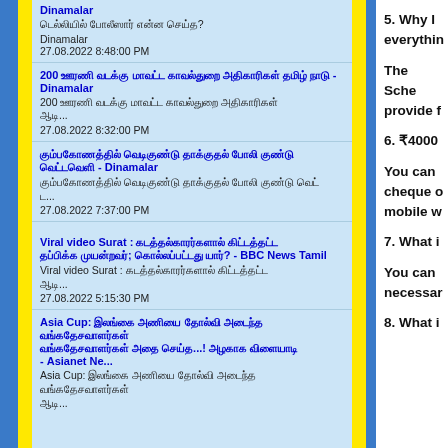Dinamalar
டெல்லியில் போலீஸார் என்ன செய்த?
Dinamalar
27.08.2022 8:48:00 PM
200 ஊரணி வடக்கு மாவட்ட காவல்துறை அதிகாரிகள் தமிழ் நாடு - Dinamalar
200 ஊரணி வடக்கு மாவட்ட காவல்துறை அதிகாரிகள் ஆடி...
27.08.2022 8:32:00 PM
கும்பகோணத்தில் வெடிகுண்டு தாக்குதல் போலி குண்டு வெட்டவெளி - Dinamalar
கும்பகோணத்தில் வெடிகுண்டு தாக்குதல் போலி குண்டு வெட்....
27.08.2022 7:37:00 PM
Viral video Surat : கடத்தல்காரர்களால் கிட்டத்தட்ட தப்பிக்க முயன்றவர்; கொல்லப்பட்டது யார்? - BBC News Tamil
Viral video Surat : கடத்தல்காரர்களால் கிட்டத்தட்ட ஆடி...
27.08.2022 5:15:30 PM
Asia Cup: இலங்கை அணியை தோல்வி அடைந்த வங்கதேசவாளர்கள் அதை செய்த...! அழகாக விளையாடி - Asianet Ne...
Asia Cup: இலங்கை அணியை தோல்வி அடைந்த வங்கதேசவாளர்கள்
5. Why I
everythin
The Sche
provide f
6. ₹4000
You can
cheque o
mobile w
7. What i
You can
necessar
8. What i